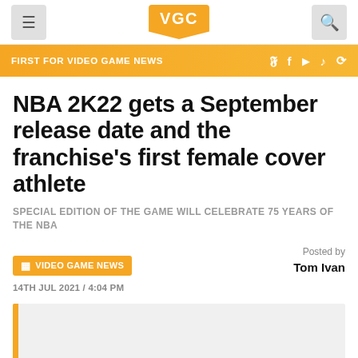VGC — FIRST FOR VIDEO GAME NEWS
NBA 2K22 gets a September release date and the franchise's first female cover athlete
SPECIAL EDITION OF THE GAME WILL CELEBRATE 75 YEARS OF THE NBA
VIDEO GAME NEWS
Posted by Tom Ivan
14TH JUL 2021 / 4:04 PM
[Figure (photo): Image placeholder with orange left accent bar]